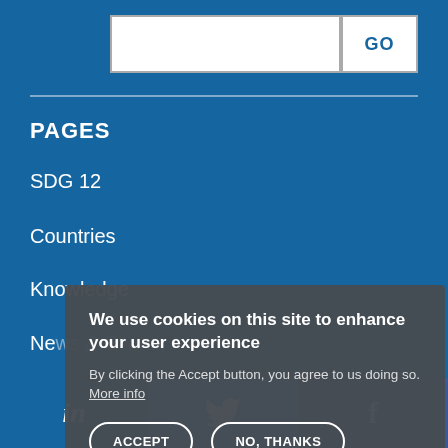PAGES
SDG 12
Countries
Knowledge
News & Events
About
Network
We use cookies on this site to enhance your user experience
By clicking the Accept button, you agree to us doing so. More info
ACCEPT
NO, THANKS